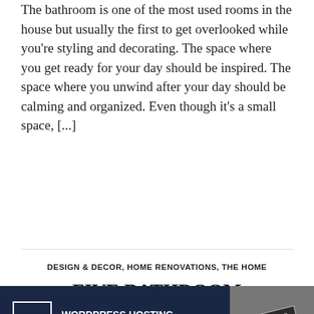The bathroom is one of the most used rooms in the house but usually the first to get overlooked while you're styling and decorating. The space where you get ready for your day should be inspired. The space where you unwind after your day should be calming and organized. Even though it's a small space, [...]
DESIGN & DECOR, HOME RENOVATIONS, THE HOME
FIVE BATHROOM RENOVATION TIPS: READ THIS BEFORE YOU RENOVATE
JULY 8, 2020  22 COMMENTS
Advertisements
[Figure (other): WordPress Hosting advertisement banner with a 'P' logo in a white box on dark navy background, text reading 'WORDPRESS HOSTING THAT MEANS BUSINESS.' and an OPEN sign photo on the right side]